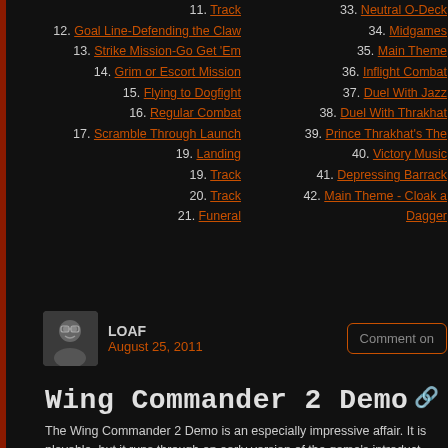11. Track
12. Goal Line-Defending the Claw
13. Strike Mission-Go Get 'Em
14. Grim or Escort Mission
15. Flying to Dogfight
16. Regular Combat
17. Scramble Through Launch
19. Landing
19. Track
20. Track
21. Funeral
33. Neutral O-Deck
34. Midgames
35. Main Theme
36. Inflight Combat
37. Duel With Jazz
38. Duel With Thrakhat
39. Prince Thrakhat's The
40. Victory Music
41. Depressing Barrack
42. Main Theme - Cloak a Dagger
LOAF
August 25, 2011
Comment on
Wing Commander 2 Demo
The Wing Commander 2 Demo is an especially impressive affair. It is playable, but it runs through an early version of the game's introduct complete with early, different, artwork for the Kilrathi palace! It also features ships in the Wing Commander I engine, including an even e version of Thrakhat's Bloodfang fighter. You can download the